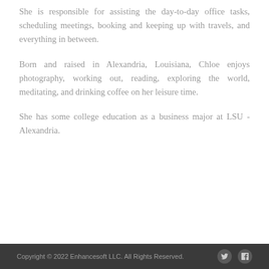She is responsible for assisting the day-to-day office tasks, scheduling meetings, booking and keeping up with travels, and everything in between.
Born and raised in Alexandria, Louisiana, Chloe enjoys photography, working out, reading, exploring the world, meditating, and drinking coffee on her leisure time.
She has some college education as a business major at LSU - Alexandria.
Copyright © 2022 Enhancesoft LLC. All Rights Reserved.